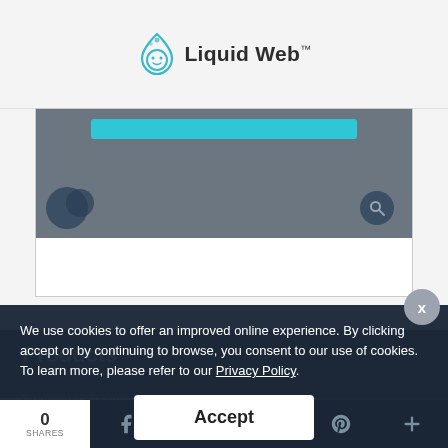Liquid Web™
[Figure (screenshot): Partial screenshot of Liquid Web website content showing a dark banner with a cyan/teal colored button bar, dark circles and a search icon]
Products
We use cookies to offer an improved online experience. By clicking accept or by continuing to browse, you consent to our use of cookies. To learn more, please refer to our Privacy Policy.
Dedicated Hosting
Accept
0 SHARES